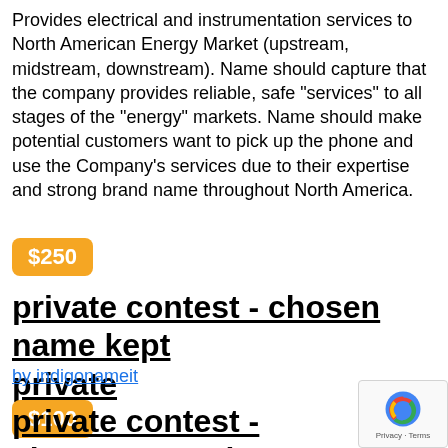Provides electrical and instrumentation services to North American Energy Market (upstream, midstream, downstream). Name should capture that the company provides reliable, safe "services" to all stages of the "energy" markets. Name should make potential customers want to pick up the phone and use the Company's services due to their expertise and strong brand name throughout North America.
$250
private contest - chosen name kept private
by indigonameit
$100
private contest - chosen name kept private